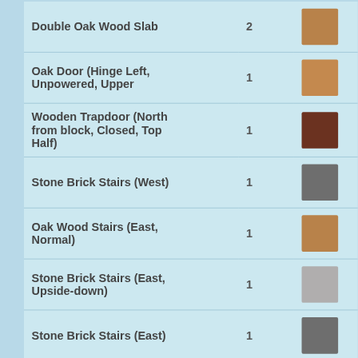| Name | Count | Color |
| --- | --- | --- |
| Double Oak Wood Slab | 2 |  |
| Oak Door (Hinge Left, Unpowered, Upper | 1 |  |
| Wooden Trapdoor (North from block, Closed, Top Half) | 1 |  |
| Stone Brick Stairs (West) | 1 |  |
| Oak Wood Stairs (East, Normal) | 1 |  |
| Stone Brick Stairs (East, Upside-down) | 1 |  |
| Stone Brick Stairs (East) | 1 |  |
| Oak Door (Facing East, Closed, Lower) | 1 |  |